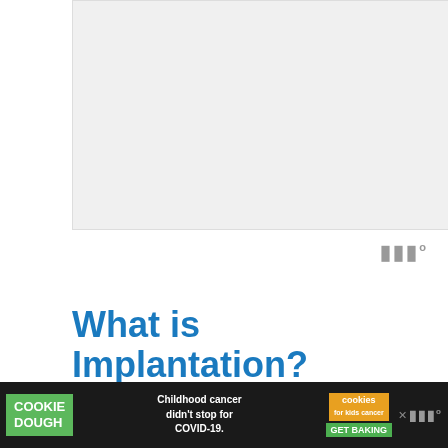[Figure (other): Gray advertisement banner placeholder at the top of the page]
What is Implantation?
Implantation is when the fertilized egg attaches (and implants) to the uterus lining during during very early pregnancy.
[Figure (other): Bottom advertisement banner: Cookie Dough ad - Childhood cancer didn't stop for COVID-19. Cookies for kids cancer. GET BAKING.]